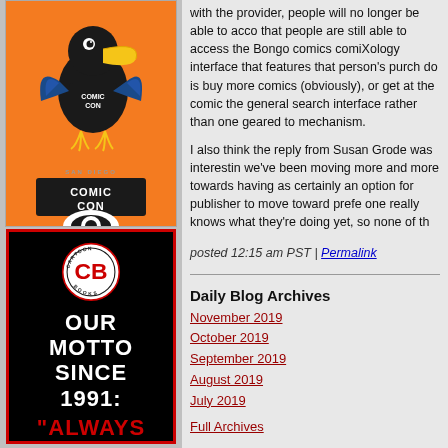[Figure (illustration): San Diego Comic-Con International advertisement with orange background and bird mascot wearing Comic-Con t-shirt]
[Figure (illustration): Cartoon Books advertisement with black background, red border, CB logo circle, and text OUR MOTTO SINCE 1991: ALWAYS]
with the provider, people will no longer be able to access that people are still able to access the Bongo comics comiXology interface that features that person's purchases do is buy more comics (obviously), or get at the comic the general search interface rather than one geared to mechanism.
I also think the reply from Susan Grode was interesting we've been moving more and more towards having as certainly an option for publisher to move toward prefe one really knows what they're doing yet, so none of th
posted 12:15 am PST | Permalink
Daily Blog Archives
November 2019
October 2019
September 2019
August 2019
July 2019
Full Archives